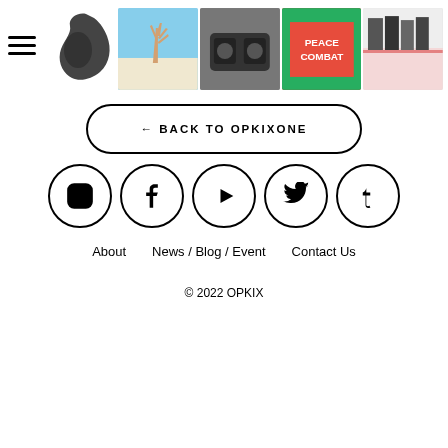[Figure (screenshot): Website header with hamburger menu, logo silhouette, and photo strip of 4 product/lifestyle photos]
[Figure (other): Back to OPKIXONE button with rounded border and left arrow]
[Figure (other): Social media icons row: Instagram, Facebook, YouTube, Twitter, Tumblr in circles]
About   News / Blog / Event   Contact Us
© 2022 OPKIX